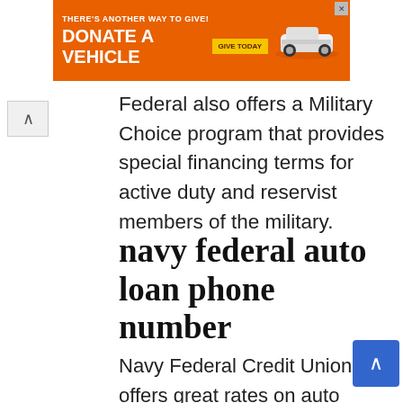[Figure (other): Orange advertisement banner: THERE'S ANOTHER WAY TO GIVE! DONATE A VEHICLE with GIVE TODAY button and a white car illustration]
Federal also offers a Military Choice program that provides special financing terms for active duty and reservist members of the military.
navy federal auto loan phone number
Navy Federal Credit Union offers great rates on auto loans, and their customer service is top-notch. If you're looking to finance a new or used car, Navy Federal is a great option to consider.
When you apply for an auto loan with Navy Federal, you'll need to provide some basic